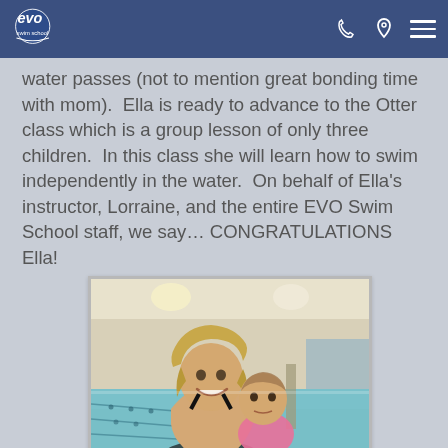EVO Swim School — navigation header
water passes (not to mention great bonding time with mom).  Ella is ready to advance to the Otter class which is a group lesson of only three children.  In this class she will learn how to swim independently in the water.  On behalf of Ella's instructor, Lorraine, and the entire EVO Swim School staff, we say… CONGRATULATIONS Ella!
[Figure (photo): A smiling blonde woman in a black swimsuit holds a toddler girl in a pink swimsuit at an indoor swimming pool. The pool has lane markings and overhead lighting.]